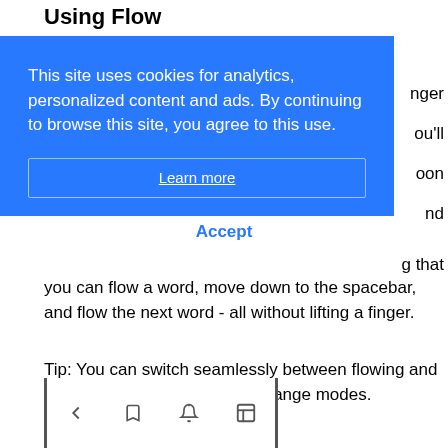Using Flow
[Figure (screenshot): Cookie consent banner with blue background reading 'This site uses cookies for analytics, personalized content and ads. By continuing to browse this site, you agree to this use.' with a 'Learn more' link and 'Accept' button below.]
g that you can flow a word, move down to the spacebar, and flow the next word - all without lifting a finger.
Tip: You can switch seamlessly between flowing and tapping - there's no need to change modes.
[Figure (screenshot): Navigation bar with back arrow, pin, notification bell, and bookmark icons inside a bordered rectangle.]